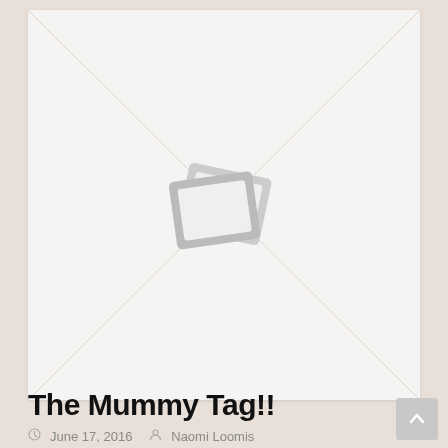[Figure (illustration): A placeholder image with diagonal lines crossing the rectangle and a stacked image/photo icon in the center, indicating a missing or unloaded image]
The Mummy Tag!!
June 17, 2016   Naomi Loomis